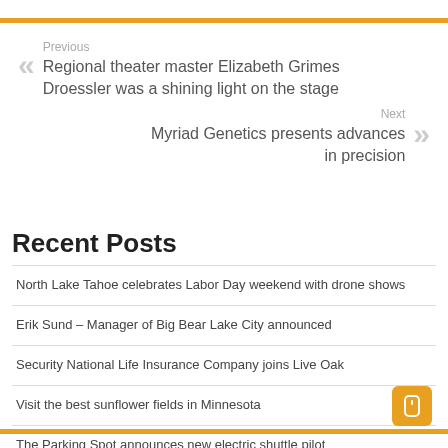Previous
Regional theater master Elizabeth Grimes Droessler was a shining light on the stage
Next
Myriad Genetics presents advances in precision
Recent Posts
North Lake Tahoe celebrates Labor Day weekend with drone shows
Erik Sund – Manager of Big Bear Lake City announced
Security National Life Insurance Company joins Live Oak
Visit the best sunflower fields in Minnesota
The Parking Spot announces new electric shuttle pilot